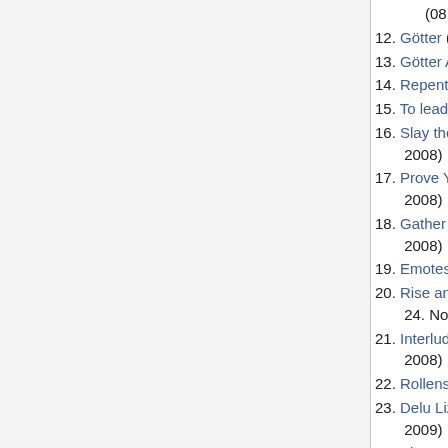12. Götter (11:31, 18. Aug. 2008)
13. Götter Adens (11:33, 18. Aug. 2008)
14. Repent Your Sins (15:21, 7. Okt. 2008)
15. To lead and be led (15:28, 7. Okt. 2008)
16. Slay the Commander (12:57, 13. Okt. 2008)
17. Prove Your Courage (12:59, 13. Okt. 2008)
18. Gather the Flames (13:09, 13. Okt. 2008)
19. Emotes (12:39, 29. Okt. 2008)
20. Rise and Fall of the Elroki Tribe (14:51, 24. Nov. 2008)
21. Interlude Waffen Quest (14:52, 24. Nov. 2008)
22. Rollenspiel (21:15, 27. Nov. 2008)
23. Delu Lizardman Shaman (03:03, 9. Jan. 2009)
24. Please make me Formal Wear! (11:43, 24. Jan. 2009)
25. Elf Class Transfer (13:19, 8. Mär. 2009)
26. Forum-Suche (14:13, 3. Jul. 2009)
27. Winner-Rp (07:08, 7. Jul. 2009)
28. Knigge (14:09, 23. Jul. 2009)
29. Vanquish Remnants (10:19, 31. Aug. ...)